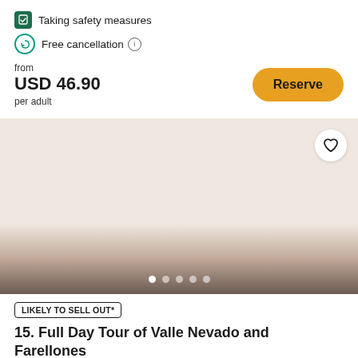Taking safety measures
Free cancellation
from
USD 46.90
per adult
[Figure (screenshot): Reserve button (amber/gold rounded button)]
[Figure (photo): Travel image placeholder with gradient from light beige to dark brown, with heart/favorite button and image carousel dots]
LIKELY TO SELL OUT*
15. Full Day Tour of Valle Nevado and Farellones